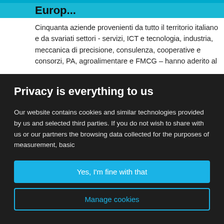Europ...
Cinquanta aziende provenienti da tutto il territorio italiano e da svariati settori - servizi, ICT e tecnologia, industria, meccanica di precisione, consulenza, cooperative e consorzi, PA, agroalimentare e FMCG – hanno aderito al
Privacy is everything to us
Our website contains cookies and similar technologies provided by us and selected third parties. If you do not wish to share with us or our partners the browsing data collected for the purposes of measurement, basic
Yes, I'm fine with that
Manage cookies